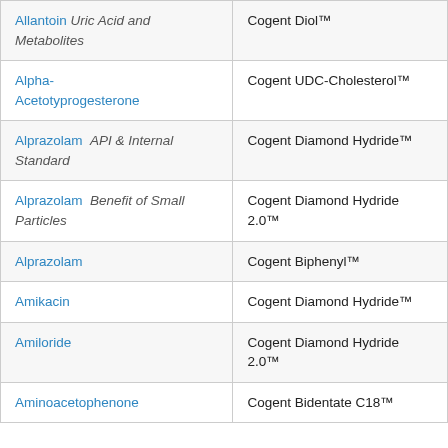| Analyte | Column |
| --- | --- |
| Allantoin Uric Acid and Metabolites | Cogent Diol™ |
| Alpha-Acetotyprogesterone | Cogent UDC-Cholesterol™ |
| Alprazolam API & Internal Standard | Cogent Diamond Hydride™ |
| Alprazolam Benefit of Small Particles | Cogent Diamond Hydride 2.0™ |
| Alprazolam | Cogent Biphenyl™ |
| Amikacin | Cogent Diamond Hydride™ |
| Amiloride | Cogent Diamond Hydride 2.0™ |
| Aminoacetophenone | Cogent Bidentate C18™ |